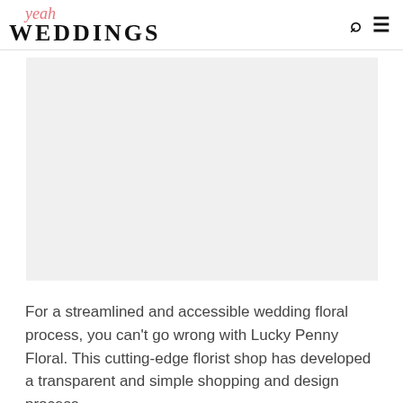yeah WEDDINGS
[Figure (photo): Empty/placeholder white-gray image area representing a wedding floral photo from Lucky Penny Floral]
For a streamlined and accessible wedding floral process, you can't go wrong with Lucky Penny Floral. This cutting-edge florist shop has developed a transparent and simple shopping and design process